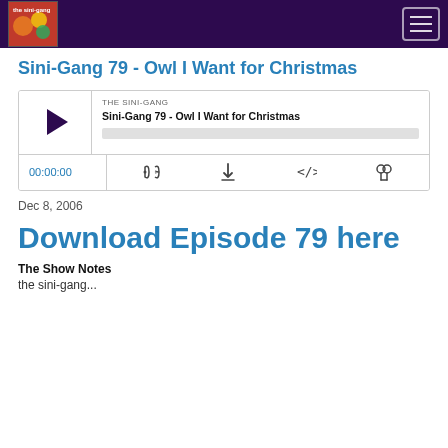The Sini-Gang [logo and navigation]
Sini-Gang 79 - Owl I Want for Christmas
[Figure (other): Audio player widget showing THE SINI-GANG / Sini-Gang 79 - Owl I Want for Christmas with play button, progress bar, time display 00:00:00, and control icons]
Dec 8, 2006
Download Episode 79 here
The Show Notes
the sini-gang...